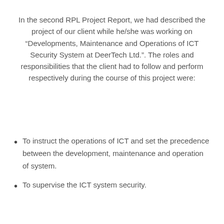In the second RPL Project Report, we had described the project of our client while he/she was working on “Developments, Maintenance and Operations of ICT Security System at DeerTech Ltd.”. The roles and responsibilities that the client had to follow and perform respectively during the course of this project were:
To instruct the operations of ICT and set the precedence between the development, maintenance and operation of system.
To supervise the ICT system security.